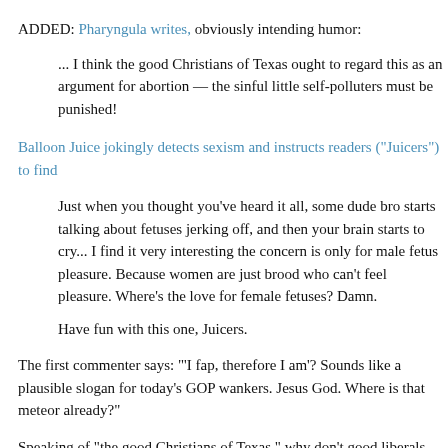ADDED: Pharyngula writes, obviously intending humor:
... I think the good Christians of Texas ought to regard this as an argument for abortion — the sinful little self-polluters must be punished!
Balloon Juice jokingly detects sexism and instructs readers ("Juicers") to find
Just when you thought you've heard it all, some dude bro starts talking about fetuses jerking off, and then your brain starts to cry... I find it very interesting the concern is only for male fetus pleasure. Because women are just brood who can't feel pleasure. Where's the love for female fetuses? Damn.
Have fun with this one, Juicers.
The first commenter says: "'I fap, therefore I am'? Sounds like a plausible slogan for today's GOP wankers. Jesus God. Where is that meteor already?"
Speaking of "the good Christians of Texas," why don't good liberals seriously fap, therefore I am"? At the heart of liberty is the right to define one's own concept of existence, of meaning, of the universe, and of the mystery of human life.